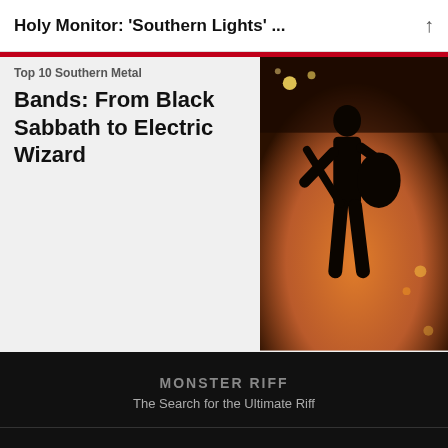Holy Monitor: 'Southern Lights' ...
Bands: From Black Sabbath to Electric Wizard
[Figure (photo): Silhouette of a guitarist on stage with warm orange stage lighting and bokeh light effects in the background]
MONSTER RIFF
The Search for the Ultimate Riff
Follow Us
[Figure (other): Social media icons: Twitter bird, Facebook F circle, Instagram camera circle]
Contact the Editor